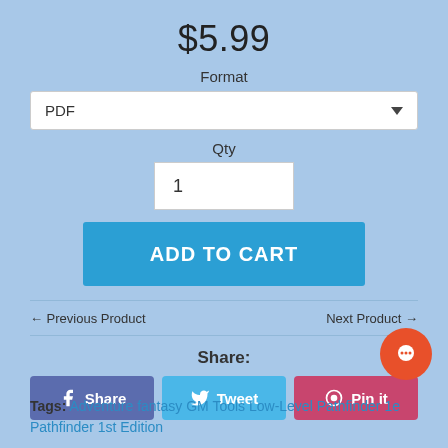$5.99
Format
PDF
Qty
1
ADD TO CART
← Previous Product
Next Product →
Share:
Share
Tweet
Pin it
Tags: Adventure fantasy GM Tools Low-Level Pathfinder 1e Pathfinder 1st Edition